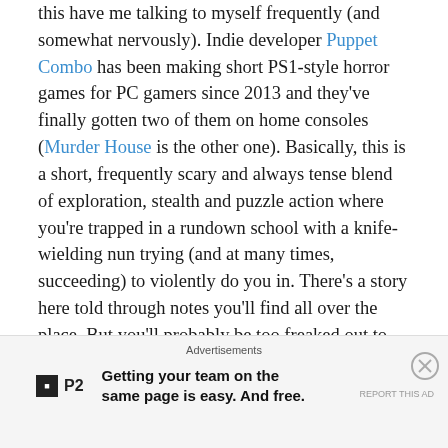this have me talking to myself frequently (and somewhat nervously). Indie developer Puppet Combo has been making short PS1-style horror games for PC gamers since 2013 and they've finally gotten two of them on home consoles (Murder House is the other one). Basically, this is a short, frequently scary and always tense blend of exploration, stealth and puzzle action where you're trapped in a rundown school with a knife-wielding nun trying (and at many times, succeeding) to violently do you in. There's a story here told through notes you'll find all over the place. But you'll probably be too freaked out to read through all of them, what with that nun popping up at the most inopportune moments. Just keep telling yourself "It's only a game. It's only a game..."
Advertisements
[Figure (other): Advertisement banner for P2 with logo and tagline: Getting your team on the same page is easy. And free.]